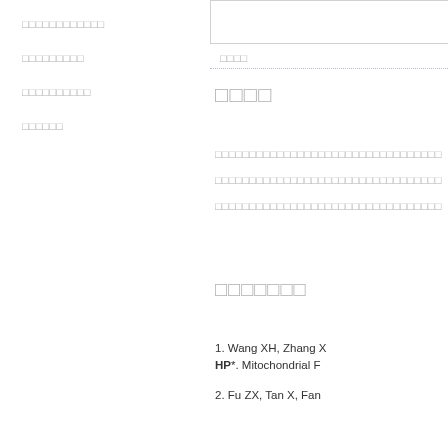[redacted navigation item 1]
[redacted navigation item 2]
[redacted navigation item 3]
[redacted navigation item 4]
[redacted small label]
[redacted section title]
[redacted body text line 1]
[redacted body text line 2]
[redacted body text line 3]
[redacted section 2 title]
1. Wang XH, Zhang X ... HP*. Mitochondrial F...
2. Fu ZX, Tan X, Fan...